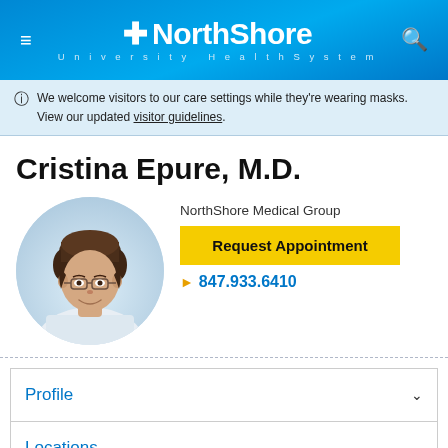NorthShore University HealthSystem
We welcome visitors to our care settings while they're wearing masks. View our updated visitor guidelines.
Cristina Epure, M.D.
[Figure (photo): Headshot photo of Dr. Cristina Epure, a woman with short brown hair and glasses, wearing a white coat, in a circular frame.]
NorthShore Medical Group
Request Appointment
847.933.6410
Profile
Locations